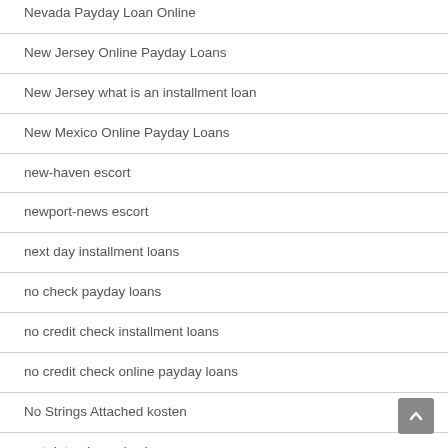Nevada Payday Loan Online
New Jersey Online Payday Loans
New Jersey what is an installment loan
New Mexico Online Payday Loans
new-haven escort
newport-news escort
next day installment loans
no check payday loans
no credit check installment loans
no credit check online payday loans
No Strings Attached kosten
no teletrack payday loans
no teletrack title loans